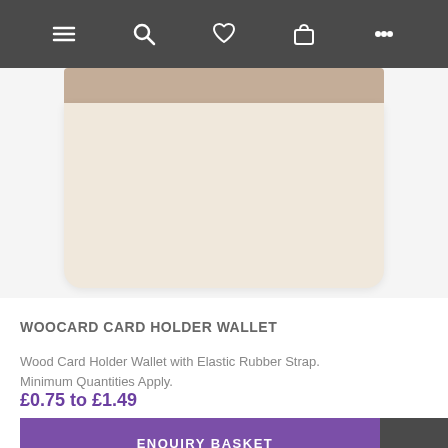[Figure (screenshot): Mobile e-commerce navigation bar with hamburger menu, search, heart/wishlist, shopping bag, and more (ellipsis) icons on dark grey background]
[Figure (photo): Wood Card Holder Wallet product photo showing a cream/beige wooden card holder with a light brown elastic rubber strap across the top]
WOOCARD CARD HOLDER WALLET
Wood Card Holder Wallet with Elastic Rubber Strap. Minimum Quantities Apply.
£0.75 to £1.49
ENQUIRY BASKET